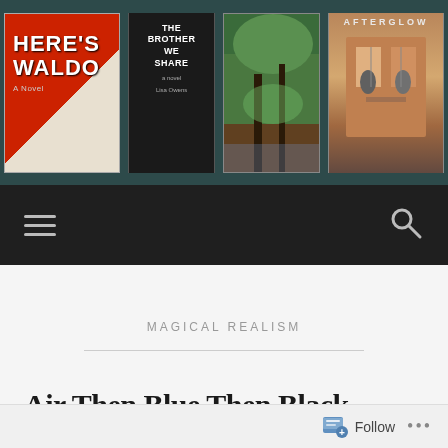[Figure (screenshot): Website header with book covers: Here's Waldo (red cover), The Brother We Share (dark cover), a nature photo, and Afterglow (illustrated cover), set against a dark teal background]
[Figure (screenshot): Dark navigation bar with hamburger menu icon on left and search icon on right]
MAGICAL REALISM
Air Then Blue Then Black
LEAVE A COMMENT
Follow ...